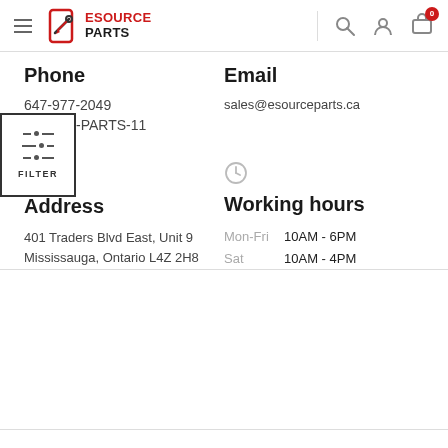[Figure (screenshot): ESource Parts website header with hamburger menu, logo, search icon, user icon, and cart icon with badge showing 0]
Phone
Email
647-977-2049
1-800-PARTS-11
sales@esourceparts.ca
[Figure (other): Filter icon overlay box with FILTER label]
[Figure (other): Location pin icon]
[Figure (other): Clock icon]
Address
Working hours
401 Traders Blvd East, Unit 9
Mississauga, Ontario L4Z 2H8
Mon-Fri  10AM - 6PM
Sat         10AM - 4PM